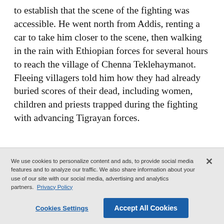to establish that the scene of the fighting was accessible. He went north from Addis, renting a car to take him closer to the scene, then walking in the rain with Ethiopian forces for several hours to reach the village of Chenna Teklehaymanot. Fleeing villagers told him how they had already buried scores of their dead, including women, children and priests trapped during the fighting with advancing Tigrayan forces.
We use cookies to personalize content and ads, to provide social media features and to analyze our traffic. We also share information about your use of our site with our social media, advertising and analytics partners. Privacy Policy
Cookies Settings | Accept All Cookies